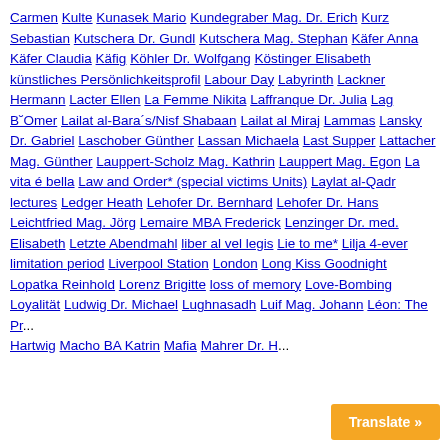Carmen Kulte Kunasek Mario Kundegraber Mag. Dr. Erich Kurz Sebastian Kutschera Dr. Gundl Kutschera Mag. Stephan Käfer Anna Käfer Claudia Käfig Köhler Dr. Wolfgang Köstinger Elisabeth künstliches Persönlichkeitsprofil Labour Day Labyrinth Lackner Hermann Lacter Ellen La Femme Nikita Laffranque Dr. Julia Lag B˘Omer Lailat al-Bara´s/Nisf Shabaan Lailat al Miraj Lammas Lansky Dr. Gabriel Laschober Günther Lassan Michaela Last Supper Lattacher Mag. Günther Lauppert-Scholz Mag. Kathrin Lauppert Mag. Egon La vita é bella Law and Order* (special victims Units) Laylat al-Qadr lectures Ledger Heath Lehofer Dr. Bernhard Lehofer Dr. Hans Leichtfried Mag. Jörg Lemaire MBA Frederick Lenzinger Dr. med. Elisabeth Letzte Abendmahl liber al vel legis Lie to me* Lilja 4-ever limitation period Liverpool Station London Long Kiss Goodnight Lopatka Reinhold Lorenz Brigitte loss of memory Love-Bombing Loyalität Ludwig Dr. Michael Lughnasadh Luif Mag. Johann Léon: The Pr... Hartwig Macho BA Katrin Mafia Mahrer Dr. H...